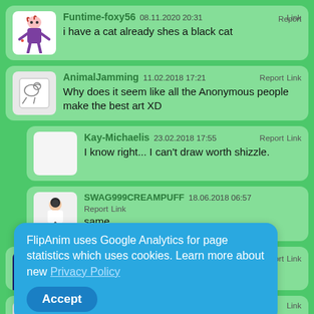Funtime-foxy56 08.11.2020 20:31 Link Report
i have a cat already shes a black cat
AnimalJamming 11.02.2018 17:21 Report Link
Why does it seem like all the Anonymous people make the best art XD
Kay-Michaelis 23.02.2018 17:55 Report Link
I know right... I can't draw worth shizzle.
SWAG999CREAMPUFF 18.06.2018 06:57 Report Link
same
Dracfu2 07.05.2019 23:55 Report Link
Link
Link
FlipAnim uses Google Analytics for page statistics which uses cookies. Learn more about new Privacy Policy
Accept